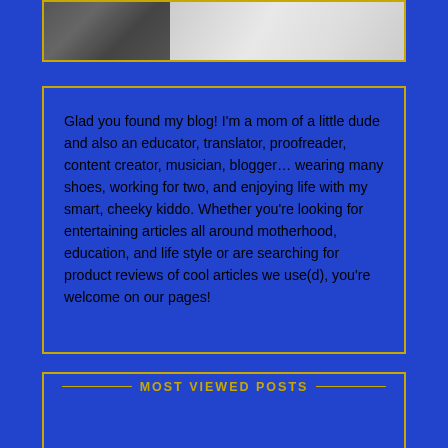[Figure (photo): Partial image showing dark fabric on left and white/light draped fabric on right, cropped at top of page]
Glad you found my blog! I'm a mom of a little dude and also an educator, translator, proofreader, content creator, musician, blogger… wearing many shoes, working for two, and enjoying life with my smart, cheeky kiddo. Whether you're looking for entertaining articles all around motherhood, education, and life style or are searching for product reviews of cool articles we use(d), you're welcome on our pages!
MOST VIEWED POSTS
[Figure (photo): Small thumbnail image showing a red-colored scene, partially visible at bottom of page]